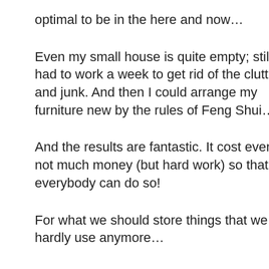optimal to be in the here and now…
Even my small house is quite empty; still I had to work a week to get rid of the clutter and junk. And then I could arrange my furniture new by the rules of Feng Shui…
And the results are fantastic. It cost even not much money (but hard work) so that everybody can do so!
For what we should store things that we hardly use anymore…
Everybody should know the 80/20 rule… 20% of our work contributes to 80% of our income… For what we do need the additionally 80%? And with this in mind, we